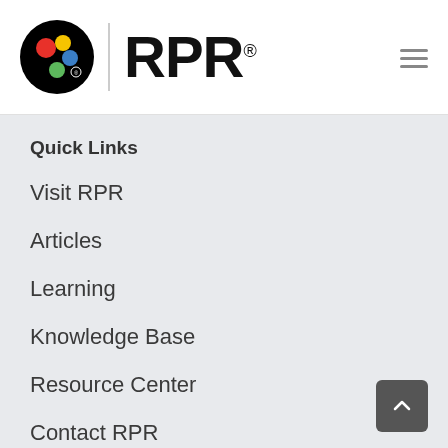[Figure (logo): RPR logo with colored circles icon and RPR text with registered trademark symbol]
Quick Links
Visit RPR
Articles
Learning
Knowledge Base
Resource Center
Contact RPR